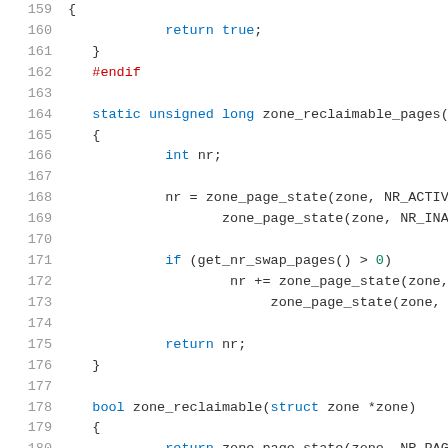Source code listing, lines 159–180, showing zone_reclaimable_pages and zone_reclaimable functions in C.